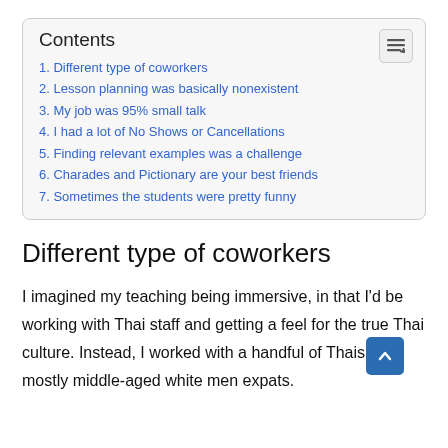Contents
1. Different type of coworkers
2. Lesson planning was basically nonexistent
3. My job was 95% small talk
4. I had a lot of No Shows or Cancellations
5. Finding relevant examples was a challenge
6. Charades and Pictionary are your best friends
7. Sometimes the students were pretty funny
Different type of coworkers
I imagined my teaching being immersive, in that I'd be working with Thai staff and getting a feel for the true Thai culture. Instead, I worked with a handful of Thais and mostly middle-aged white men expats.